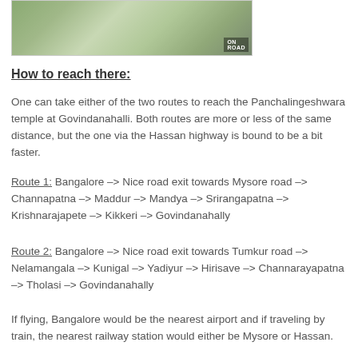[Figure (photo): Stone pavement or cobblestone path with green moss/grass growing between the stones, with a small watermark logo in the corner]
How to reach there:
One can take either of the two routes to reach the Panchalingeshwara temple at Govindanahalli. Both routes are more or less of the same distance, but the one via the Hassan highway is bound to be a bit faster.
Route 1: Bangalore –> Nice road exit towards Mysore road –> Channapatna –> Maddur –> Mandya –> Srirangapatna –> Krishnarajapete –> Kikkeri –> Govindanahally
Route 2: Bangalore –> Nice road exit towards Tumkur road –> Nelamangala –> Kunigal –> Yadiyur –> Hirisave –> Channarayapatna –> Tholasi –> Govindanahally
If flying, Bangalore would be the nearest airport and if traveling by train, the nearest railway station would either be Mysore or Hassan.